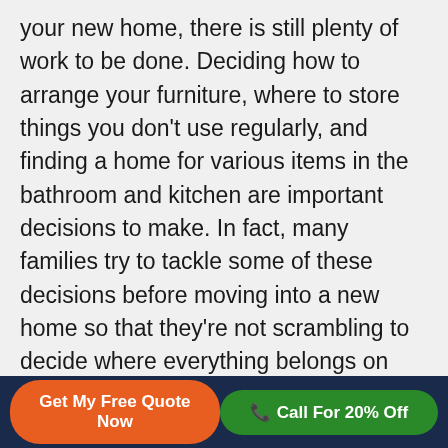your new home, there is still plenty of work to be done. Deciding how to arrange your furniture, where to store things you don't use regularly, and finding a home for various items in the bathroom and kitchen are important decisions to make. In fact, many families try to tackle some of these decisions before moving into a new home so that they're not scrambling to decide where everything belongs on move in day. Either way you approach it, your new house won't truly feel like a home until everything is organized. With that in mind, here are five ways to tell that your new house is organized and ready to be lived in.
Get My Free Quote Now | Call For 20% Off